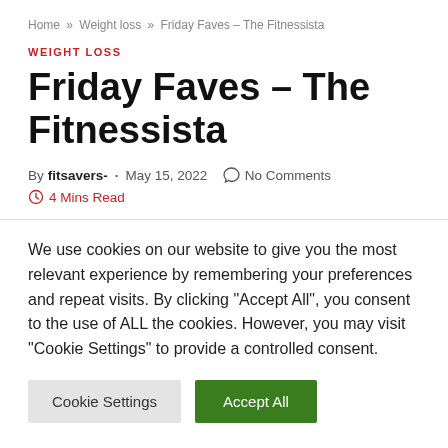Home » Weight loss » Friday Faves – The Fitnessista
WEIGHT LOSS
Friday Faves – The Fitnessista
By fitsavers- · May 15, 2022  No Comments  4 Mins Read
We use cookies on our website to give you the most relevant experience by remembering your preferences and repeat visits. By clicking "Accept All", you consent to the use of ALL the cookies. However, you may visit "Cookie Settings" to provide a controlled consent.